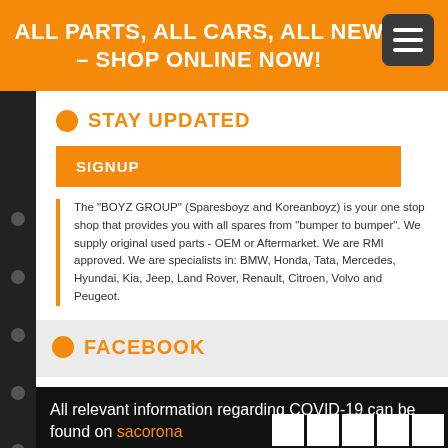ALL PARTS, ALL CARS, ALL NEW – SHOP ONLINE NOW!
STAY UPDATED
SIGNUP
The "BOYZ GROUP" (Sparesboyz and Koreanboyz) is your one stop shop that provides you with all spares from "bumper to bumper". We supply original used parts - OEM or Aftermarket. We are RMI approved. We are specialists in: BMW, Honda, Tata, Mercedes, Hyundai, Kia, Jeep, Land Rover, Renault, Citroen, Volvo and Peugeot.
FACEBOOK
All relevant information regarding COVID-19 can be found on sacorona